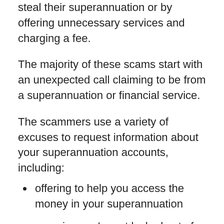steal their superannuation or by offering unnecessary services and charging a fee.
The majority of these scams start with an unexpected call claiming to be from a superannuation or financial service.
The scammers use a variety of excuses to request information about your superannuation accounts, including:
offering to help you access the money in your superannuation
ensuring you're not locked out of your account under new rules.
checking whether your superannuation account